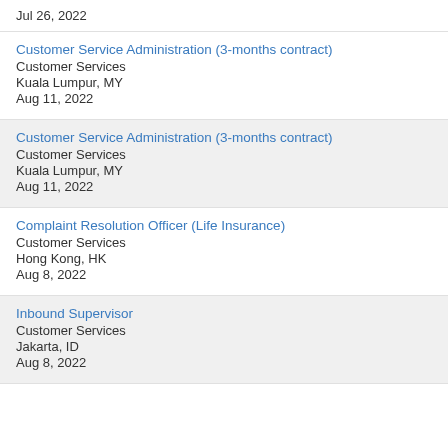Jul 26, 2022
Customer Service Administration (3-months contract)
Customer Services
Kuala Lumpur, MY
Aug 11, 2022
Customer Service Administration (3-months contract)
Customer Services
Kuala Lumpur, MY
Aug 11, 2022
Complaint Resolution Officer (Life Insurance)
Customer Services
Hong Kong, HK
Aug 8, 2022
Inbound Supervisor
Customer Services
Jakarta, ID
Aug 8, 2022